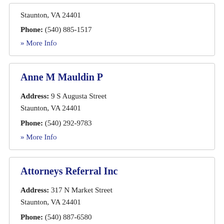Staunton, VA 24401
Phone: (540) 885-1517
» More Info
Anne M Mauldin P
Address: 9 S Augusta Street Staunton, VA 24401
Phone: (540) 292-9783
» More Info
Attorneys Referral Inc
Address: 317 N Market Street Staunton, VA 24401
Phone: (540) 887-6580